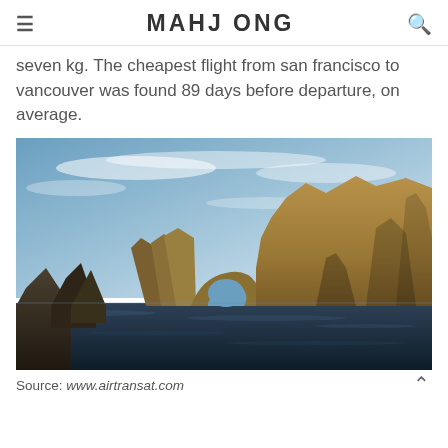MAHJ ONG
seven kg. The cheapest flight from san francisco to vancouver was found 89 days before departure, on average.
[Figure (photo): Photograph of dramatic rocky sea arches and cliffs rising from dark ocean water under a blue sky with wispy clouds — El Arco de Cabo San Lucas style rock formation.]
Source: www.airtransat.com